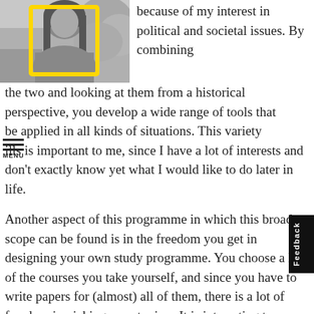[Figure (photo): Black and white photograph of a young woman with long dark hair, with a yellow outlined rectangle/square graphic overlay on the image]
because of my interest in political and societal issues. By combining the two and looking at them from a historical perspective, you develop a wide range of tools that can be applied in all kinds of situations. This variety of skills is important to me, since I have a lot of interests and don't exactly know yet what I would like to do later in life.
Another aspect of this programme in which this broad scope can be found is in the freedom you get in designing your own study programme. You choose a lot of the courses you take yourself, and since you have to write papers for (almost) all of them, there is a lot of freedom in picking your topics. It is interesting to see the diversity in topics